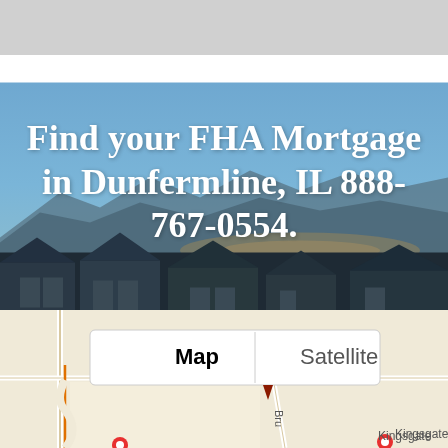[Figure (photo): Aerial/elevated photo of a suburban neighborhood at dusk with mountains in the background and a blue sky gradient. Houses with garages are visible in the foreground.]
Find your FHA Mortgage in Dunfermline, IL 888-767-0554.
[Figure (map): Google Maps screenshot showing a street map with Map/Satellite toggle buttons, street labels including 'Kingsgate', 'Bru-' (truncated), and map pins visible at the bottom.]